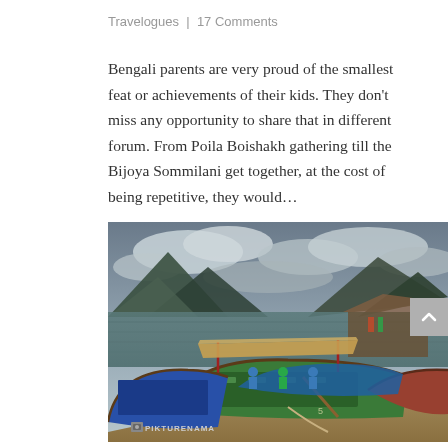Travelogues | 17 Comments
Bengali parents are very proud of the smallest feat or achievements of their kids. They don't miss any opportunity to share that in different forum. From Poila Boishakh gathering till the Bijoya Sommilani get together, at the cost of being repetitive, they would…
[Figure (photo): Colorful wooden boats moored at a lakeside dock with mountains and dramatic cloudy sky in the background. A watermark 'PIKTURENAMA' with a small camera icon is visible at the bottom left of the image.]